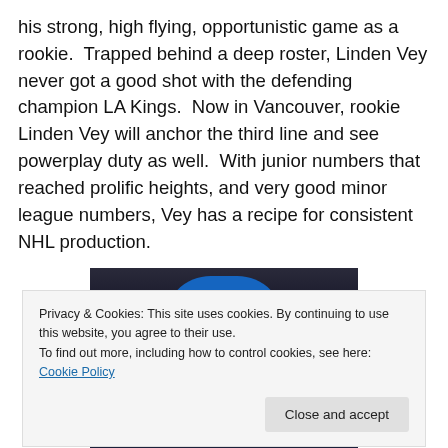his strong, high flying, opportunistic game as a rookie. Trapped behind a deep roster, Linden Vey never got a good shot with the defending champion LA Kings. Now in Vancouver, rookie Linden Vey will anchor the third line and see powerplay duty as well. With junior numbers that reached prolific heights, and very good minor league numbers, Vey has a recipe for consistent NHL production.
[Figure (photo): Hockey player wearing a blue helmet, partial view of jersey with text visible at bottom, crowd in background]
Privacy & Cookies: This site uses cookies. By continuing to use this website, you agree to their use.
To find out more, including how to control cookies, see here: Cookie Policy
Close and accept